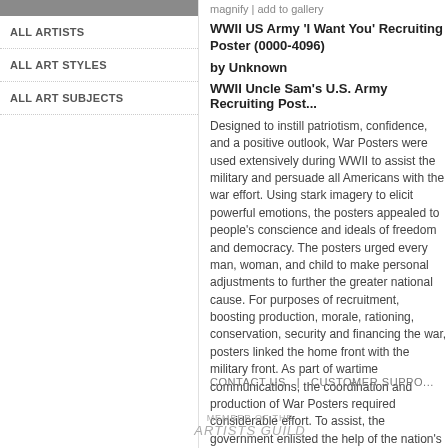ALL ARTISTS
ALL ART STYLES
ALL ART SUBJECTS
magnify | add to gallery
WWII US Army 'I Want You' Recruiting Poster (0000-4096)
by Unknown
WWII Uncle Sam's U.S. Army Recruiting Post...
Designed to instill patriotism, confidence, and a positive outlook, War Posters were used extensively during WWII to assist the military and persuade all Americans with the war effort. Using stark imagery to elicit powerful emotions, the posters appealed to people's conscience and ideals of freedom and democracy. The posters urged every man, woman, and child to make personal adjustments to further the greater national cause. For purposes of recruitment, boosting production, morale, rationing, conservation, security and financing the war, posters linked the home front with the military front. As part of wartime communications, the coordination and production of War Posters required considerable effort. To assist, the government enlisted the help of the nation's foremost artists, intellectuals and advertising specialists of the time. Containing uniquely creative and beautiful art, War Posters make a great display and are a wonderful piece of our nation's history.
CONTACT US  |  CUSTOMER SUPPORT
MEMBER OF THE
ARTISTS GUILD